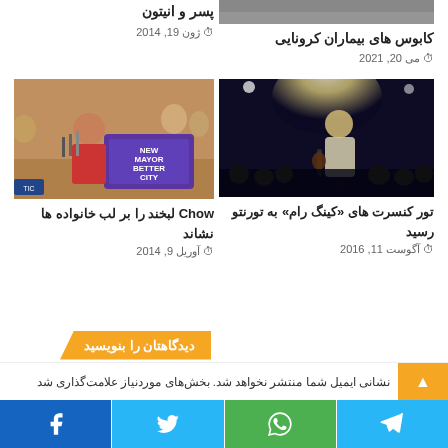[Figure (photo): Partial top image strip, cropped at top]
کابوس های بیماران کرونایی
می 20, 2021
پسر و انیتون
ژون 19, 2014
[Figure (photo): Concert photo: musician with guitar on dark stage]
تور کنسرت های «کینگ رام» به تورنتو رسید
آگوست 11, 2016
[Figure (photo): Olivia Chow at press conference with 'NEW MAYOR BETTER CITY' sign]
Chow لبخند را بر لب خانواده ها نشاند
آوریل 9, 2014
دیدگاهتان را بنویسید
نشانی ایمیل شما منتشر نخواهد شد. بخش‌های موردنیاز علامت‌گذاری شد